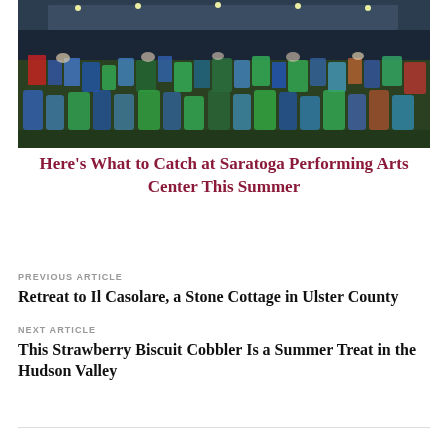[Figure (photo): Outdoor concert or event at Saratoga Performing Arts Center at dusk, crowd seated in lawn chairs on grass with venue structure visible in background]
Here's What to Catch at Saratoga Performing Arts Center This Summer
PREVIOUS ARTICLE
Retreat to Il Casolare, a Stone Cottage in Ulster County
NEXT ARTICLE
This Strawberry Biscuit Cobbler Is a Summer Treat in the Hudson Valley